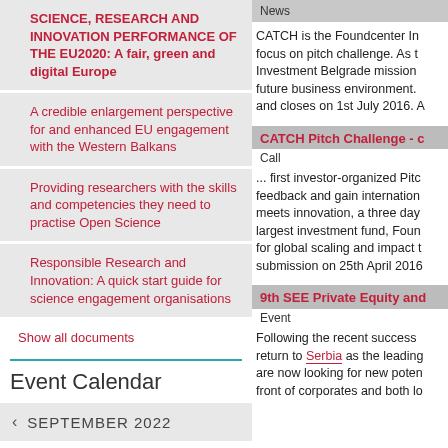SCIENCE, RESEARCH AND INNOVATION PERFORMANCE OF THE EU2020: A fair, green and digital Europe
A credible enlargement perspective for and enhanced EU engagement with the Western Balkans
Providing researchers with the skills and competencies they need to practise Open Science
Responsible Research and Innovation: A quick start guide for science engagement organisations
Show all documents
Event Calendar
SEPTEMBER 2022
News
CATCH is the Foundcenter In... focus on pitch challenge. As t... Investment Belgrade mission ... future business environment. ... and closes on 1st July 2016. A...
CATCH Pitch Challenge - c...
Call
... first investor-organized Pitc... feedback and gain internation... meets innovation, a three day... largest investment fund, Foun... for global scaling and impact t... submission on 25th April 2016...
9th SEE Private Equity and...
Event
Following the recent success ... return to Serbia as the leading... are now looking for new poten... front of corporates and both lo...